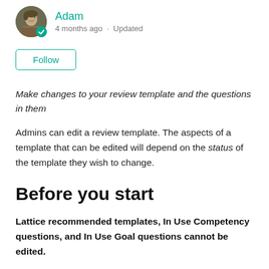[Figure (photo): Avatar photo of Adam with a teal badge icon, author name 'Adam' in teal, meta text '4 months ago · Updated']
[Figure (other): Follow button with teal border]
Make changes to your review template and the questions in them
Admins can edit a review template. The aspects of a template that can be edited will depend on the status of the template they wish to change.
Before you start
Lattice recommended templates, In Use Competency questions, and In Use Goal questions cannot be edited.
Changes will be applied to the template bank for future uses of this template. If a review cycle is already using this template, the previous version will remain unless changes